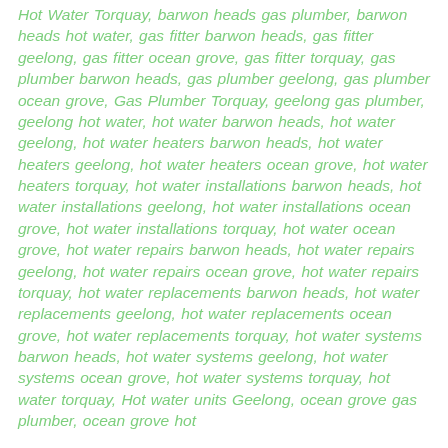Hot Water Torquay, barwon heads gas plumber, barwon heads hot water, gas fitter barwon heads, gas fitter geelong, gas fitter ocean grove, gas fitter torquay, gas plumber barwon heads, gas plumber geelong, gas plumber ocean grove, Gas Plumber Torquay, geelong gas plumber, geelong hot water, hot water barwon heads, hot water geelong, hot water heaters barwon heads, hot water heaters geelong, hot water heaters ocean grove, hot water heaters torquay, hot water installations barwon heads, hot water installations geelong, hot water installations ocean grove, hot water installations torquay, hot water ocean grove, hot water repairs barwon heads, hot water repairs geelong, hot water repairs ocean grove, hot water repairs torquay, hot water replacements barwon heads, hot water replacements geelong, hot water replacements ocean grove, hot water replacements torquay, hot water systems barwon heads, hot water systems geelong, hot water systems ocean grove, hot water systems torquay, hot water torquay, Hot water units Geelong, ocean grove gas plumber, ocean grove hot